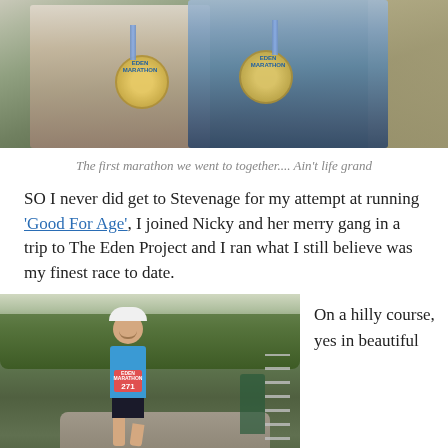[Figure (photo): Two people holding up Eden Project marathon medals, sitting at a wooden bench. One wearing a white t-shirt, the other in a blue running vest.]
The first marathon we went to together.... Ain't life grand
SO I never did get to Stevenage for my attempt at running 'Good For Age', I joined Nicky and her merry gang in a trip to The Eden Project and I ran what I still believe was my finest race to date.
[Figure (photo): A male runner wearing a blue vest with race number 271, white cap, running on a path at the Eden Project marathon. Green hedges and barrier fencing visible in background.]
On a hilly course, yes in beautiful